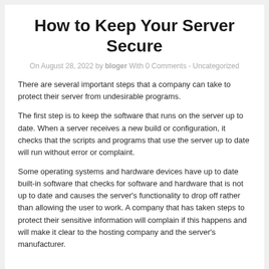How to Keep Your Server Secure
On August 28, 2022 by bloger With 0 Comments - Uncategorized
There are several important steps that a company can take to protect their server from undesirable programs.
The first step is to keep the software that runs on the server up to date. When a server receives a new build or configuration, it checks that the scripts and programs that use the server up to date will run without error or complaint.
Some operating systems and hardware devices have up to date built-in software that checks for software and hardware that is not up to date and causes the server's functionality to drop off rather than allowing the user to work. A company that has taken steps to protect their sensitive information will complain if this happens and will make it clear to the hosting company and the server's manufacturer.